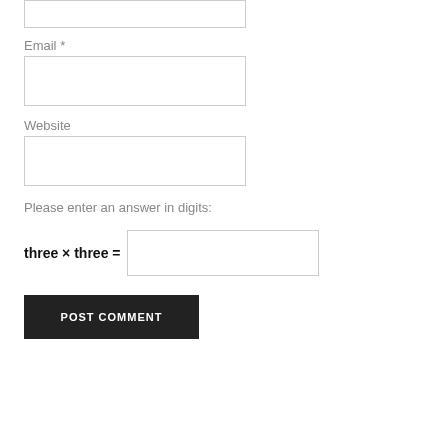Email *
Website
Please enter an answer in digits:
three × three =
POST COMMENT